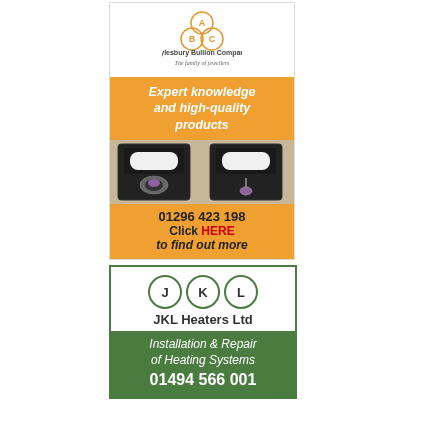[Figure (infographic): Aylesbury Bullion Company advertisement with ABC logo, orange background with text 'Expert knowledge and high-quality products', photo of two jewellery boxes with ring and pendant, phone number 01296 423 198, Click HERE to find out more]
[Figure (infographic): JKL Heaters Ltd advertisement with green border, J K L circles logo, 'JKL Heaters Ltd', 'Installation & Repair of Heating Systems', phone number 01494 566 001]